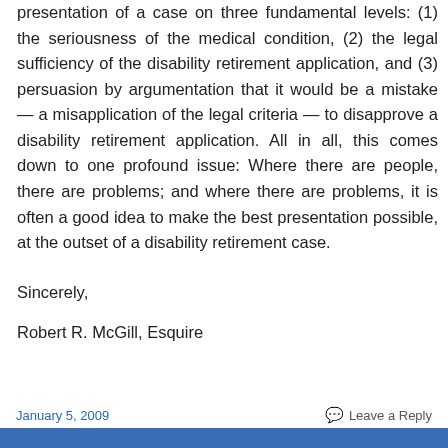presentation of a case on three fundamental levels: (1) the seriousness of the medical condition, (2) the legal sufficiency of the disability retirement application, and (3) persuasion by argumentation that it would be a mistake — a misapplication of the legal criteria — to disapprove a disability retirement application. All in all, this comes down to one profound issue: Where there are people, there are problems; and where there are problems, it is often a good idea to make the best presentation possible, at the outset of a disability retirement case.
Sincerely,
Robert R. McGill, Esquire
January 5, 2009    Leave a Reply